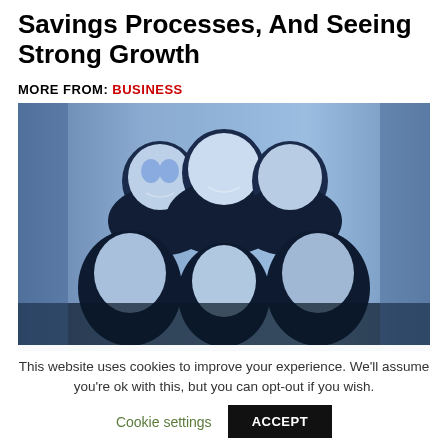Savings Processes, And Seeing Strong Growth
MORE FROM: BUSINESS
[Figure (photo): Group photo of five smiling people with a blue-toned duotone filter applied, three in the back row and two in the front row.]
This website uses cookies to improve your experience. We'll assume you're ok with this, but you can opt-out if you wish.
Cookie settings   ACCEPT